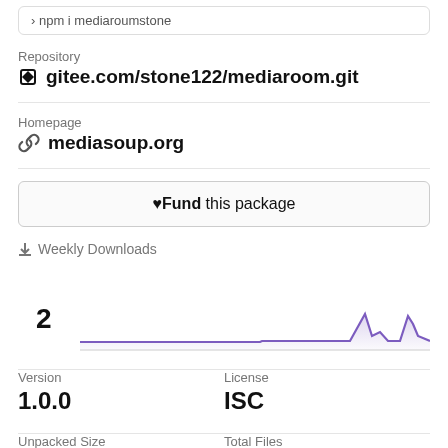npm i mediaroumstone
Repository
gitee.com/stone122/mediaroom.git
Homepage
mediasoup.org
♥Fund this package
Weekly Downloads
2
[Figure (line-chart): Line chart showing weekly downloads over time, mostly flat near zero with two spikes near the right side]
Version
1.0.0
License
ISC
Unpacked Size
Total Files